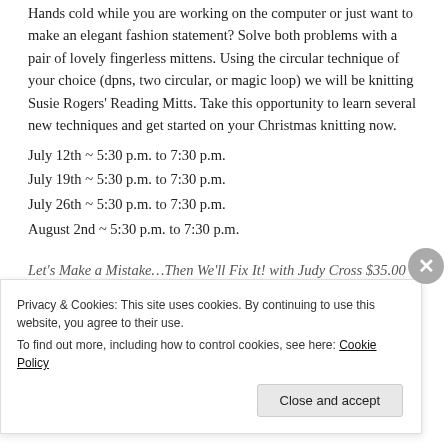Hands cold while you are working on the computer or just want to make an elegant fashion statement? Solve both problems with a pair of lovely fingerless mittens. Using the circular technique of your choice (dpns, two circular, or magic loop) we will be knitting Susie Rogers' Reading Mitts. Take this opportunity to learn several new techniques and get started on your Christmas knitting now.
July 12th ~ 5:30 p.m. to 7:30 p.m.
July 19th ~ 5:30 p.m. to 7:30 p.m.
July 26th ~ 5:30 p.m. to 7:30 p.m.
August 2nd ~ 5:30 p.m. to 7:30 p.m.
Let's Make a Mistake…Then We'll Fix It! with Judy Cross $35.00
Mistakes are a part of a knitter's life and they can be fixed!
Privacy & Cookies: This site uses cookies. By continuing to use this website, you agree to their use.
To find out more, including how to control cookies, see here: Cookie Policy